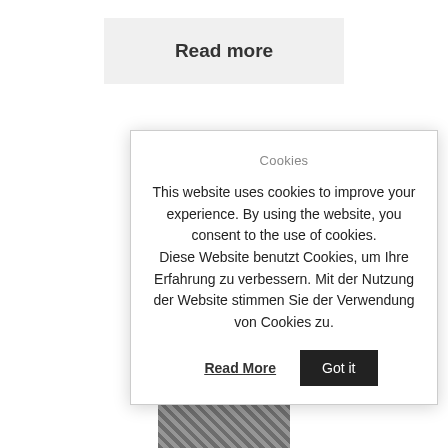Read more
Cookies
This website uses cookies to improve your experience. By using the website, you consent to the use of cookies. Diese Website benutzt Cookies, um Ihre Erfahrung zu verbessern. Mit der Nutzung der Website stimmen Sie der Verwendung von Cookies zu.
Read More
Got it
[Figure (photo): Partial image visible at the bottom of the page]